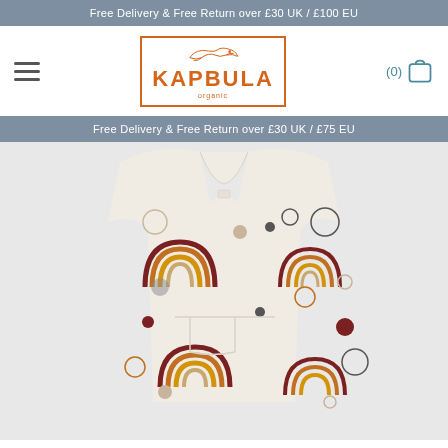Free Delivery & Free Return over £30 UK / £100 EU
[Figure (logo): Kapbula organic children's clothing logo with orange bird illustration and orange border]
Free Delivery & Free Return over £30 UK / £75 EU
[Figure (photo): Children's sleeveless dress/pinafore with rainbow and circle pattern on cream background, shown from the front]